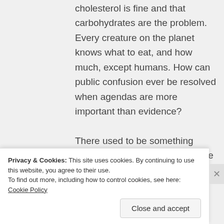cholesterol is fine and that carbohydrates are the problem. Every creature on the planet knows what to eat, and how much, except humans. How can public confusion ever be resolved when agendas are more important than evidence?

There used to be something called the French paradox where a population ate a diet high in fat and saturated fat and yet had a very low rate of heart disease. How can this be possible if
Privacy & Cookies: This site uses cookies. By continuing to use this website, you agree to their use.
To find out more, including how to control cookies, see here: Cookie Policy
Close and accept